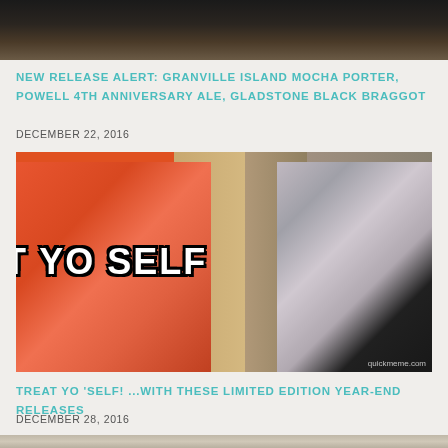[Figure (photo): Top portion of a photo, dark bar/restaurant interior scene, cropped]
NEW RELEASE ALERT: GRANVILLE ISLAND MOCHA PORTER, POWELL 4TH ANNIVERSARY ALE, GLADSTONE BLACK BRAGGOT
DECEMBER 22, 2016
[Figure (photo): Meme image from Parks and Recreation TV show with two characters walking in a hallway with text 'TREAT YO SELF' overlaid in large white Impact font with black outline. quickmeme.com watermark visible.]
TREAT YO 'SELF! ...WITH THESE LIMITED EDITION YEAR-END RELEASES
DECEMBER 28, 2016
[Figure (photo): Bottom portion of another photo, partially visible, light colored interior]